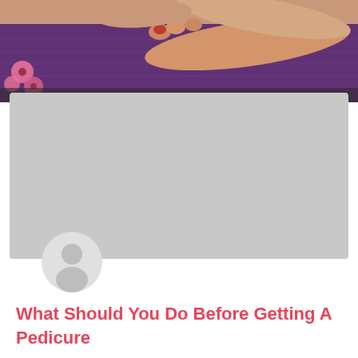[Figure (photo): Close-up of a foot massage being performed. Hands with red nails are massaging a foot resting on a purple/dark violet towel, with pink flowers visible on the left side.]
[Figure (other): Gray placeholder card with a circular avatar icon (person silhouette) in the lower-left area, representing a blog post card layout.]
What Should You Do Before Getting A Pedicure